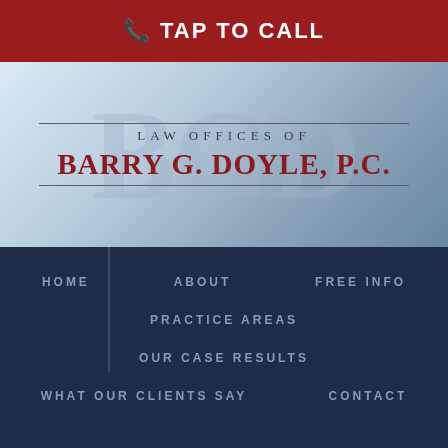📞 TAP TO CALL
[Figure (logo): Law Offices of Barry G. Doyle, P.C. logo with BGD watermark and city skyline background]
HOME
ABOUT
FREE INFO
PRACTICE AREAS
OUR CASE RESULTS
WHAT OUR CLIENTS SAY
CONTACT